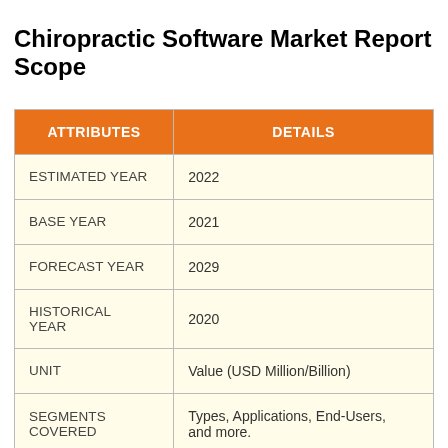Chiropractic Software Market Report Scope
| ATTRIBUTES | DETAILS |
| --- | --- |
| ESTIMATED YEAR | 2022 |
| BASE YEAR | 2021 |
| FORECAST YEAR | 2029 |
| HISTORICAL YEAR | 2020 |
| UNIT | Value (USD Million/Billion) |
| SEGMENTS COVERED | Types, Applications, End-Users, and more. |
|  |  |